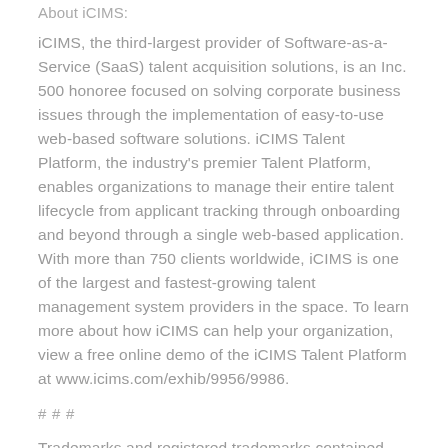About iCIMS:
iCIMS, the third-largest provider of Software-as-a-Service (SaaS) talent acquisition solutions, is an Inc. 500 honoree focused on solving corporate business issues through the implementation of easy-to-use web-based software solutions. iCIMS Talent Platform, the industry's premier Talent Platform, enables organizations to manage their entire talent lifecycle from applicant tracking through onboarding and beyond through a single web-based application. With more than 750 clients worldwide, iCIMS is one of the largest and fastest-growing talent management system providers in the space. To learn more about how iCIMS can help your organization, view a free online demo of the iCIMS Talent Platform at www.icims.com/exhib/9956/9986.
# # #
Trademarks and registered trademarks contained